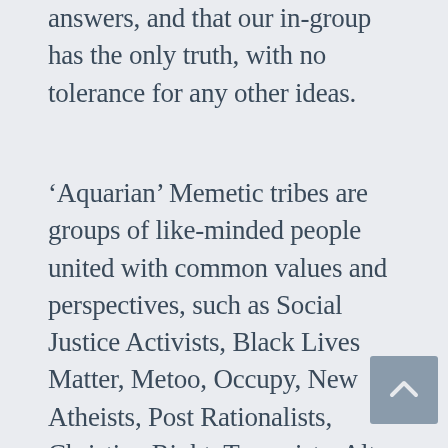answers, and that our in-group has the only truth, with no tolerance for any other ideas.
'Aquarian' Memetic tribes are groups of like-minded people united with common values and perspectives, such as Social Justice Activists, Black Lives Matter, Metoo, Occupy, New Atheists, Post Rationalists, Christian Right, Trumpists, Alt-Right, Intellectual Dark Web, Modern Neo-Marxists, Classical left, Traditional Right etc. The current culture wars between memetic tribes can be overcome, if we realise that all groups have insights to offer that when put together could contribute to a more complete understanding of both pressing global issues and needed